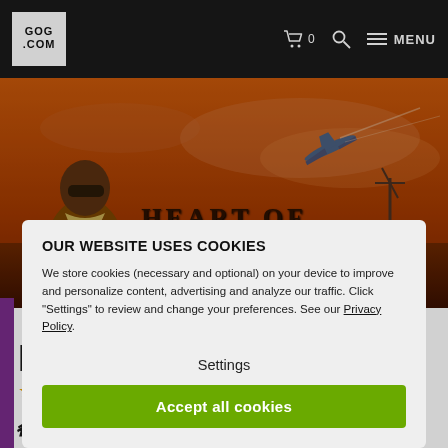GOG.COM navigation bar with cart (0), search, and menu icons
[Figure (screenshot): Hero banner image for 'Heart of China' game showing a pilot character in leather jacket and goggles against a dramatic orange-red sky with an airplane in the background. Large stylized text reads 'HEART OF CHINA'.]
OUR WEBSITE USES COOKIES
We store cookies (necessary and optional) on your device to improve and personalize content, advertising and analyze our traffic. Click "Settings" to review and change your preferences. See our Privacy Policy.
Settings
Accept all cookies
₺ 5.77